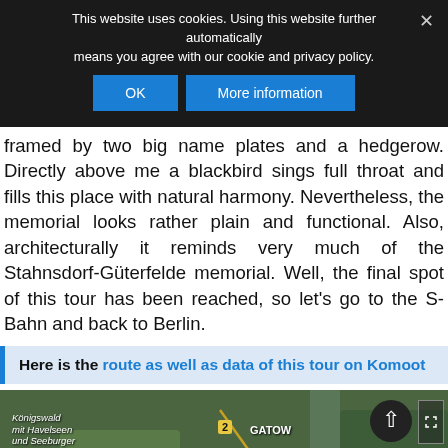This website uses cookies. Using this website further automatically means you agree with our cookie and privacy policy.
framed by two big name plates and a hedgerow. Directly above me a blackbird sings full throat and fills this place with natural harmony. Nevertheless, the memorial looks rather plain and functional. Also, architecturally it reminds very much of the Stahnsdorf-Güterfelde memorial. Well, the final spot of this tour has been reached, so let's go to the S-Bahn and back to Berlin.
Here is the route as well as data of this tour on Komoot
[Figure (map): Satellite/road map showing area around Gatow, Kladow, Königswald mit Havelseen und Seeburger Agrarlandschaft, Forst Grunewald near Berlin. Road numbers 2 and 115 visible.]